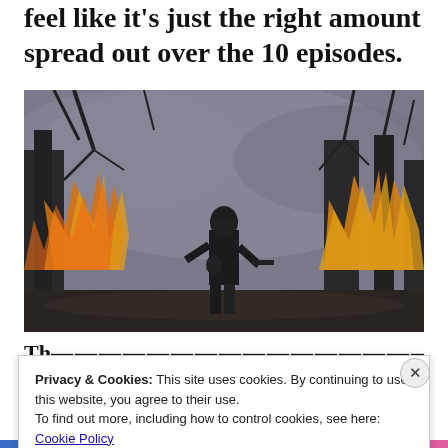feel like it's just the right amount spread out over the 10 episodes.
[Figure (photo): A silhouetted soldier or armed figure standing in a burning forest, surrounded by flames and bare trees with smoke-filled sky. Dark dramatic scene from what appears to be a video game or film.]
Th...
Privacy & Cookies: This site uses cookies. By continuing to use this website, you agree to their use.
To find out more, including how to control cookies, see here:
Cookie Policy
Close and accept